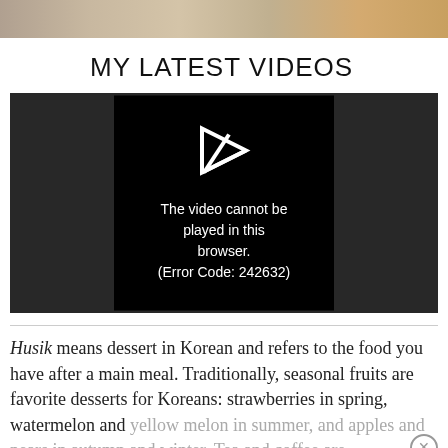[Figure (photo): Partial photo strip at top of page showing food items]
MY LATEST VIDEOS
[Figure (screenshot): Video player showing error: The video cannot be played in this browser. (Error Code: 242632)]
Husik means dessert in Korean and refers to the food you have after a main meal. Traditionally, seasonal fruits are favorite desserts for Koreans: strawberries in spring, watermelon and yellow melon in summer, and apples and pears in autumn and winter. Tea and coffee are